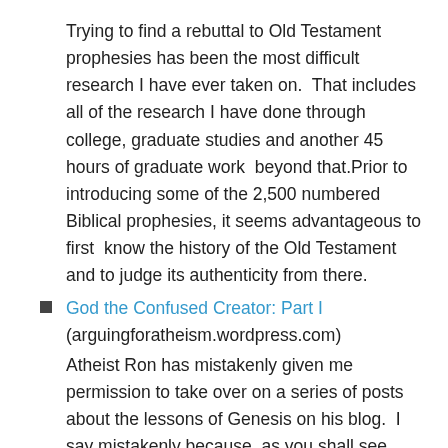Trying to find a rebuttal to Old Testament prophesies has been the most difficult research I have ever taken on.  That includes all of the research I have done through  college, graduate studies and another 45 hours of graduate work  beyond that.Prior to introducing some of the 2,500 numbered Biblical prophesies, it seems advantageous to first  know the history of the Old Testament and to judge its authenticity from there.
God the Confused Creator: Part I (arguingforatheism.wordpress.com)
Atheist Ron has mistakenly given me permission to take over on a series of posts about the lessons of Genesis on his blog.  I say mistakenly because, as you shall see, these posts will clearly and without doubt present the Word of God as irrefutable and mistake